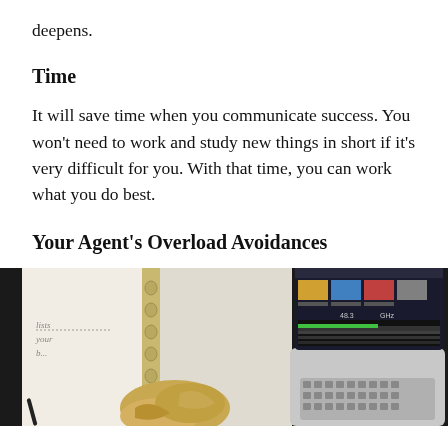deepens.
Time
It will save time when you communicate success. You won't need to work and study new things in short if it's very difficult for you. With that time, you can work what you do best.
Your Agent's Overload Avoidances
[Figure (photo): A person with blonde hair working at a desk with an open planner/notebook on the left, and a laptop with a monitor showing a video editing interface on the right, viewed from above on a dark surface.]